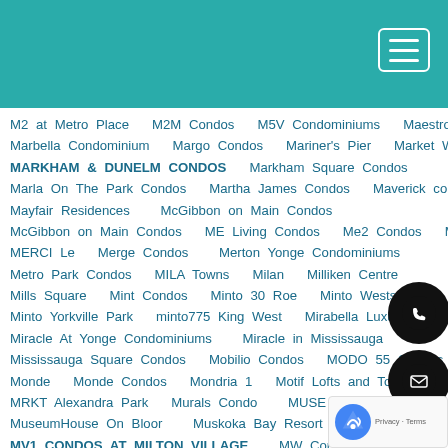[Figure (other): Teal/green header bar with hamburger menu button (three horizontal lines in a rounded rectangle border) in the top-right corner]
M2 at Metro Place   M2M Condos   M5V Condominiums   Maestro Condos
Marbella Condominium   Margo Condos   Mariner's Pier   Market Wharf
MARKHAM & DUNELM CONDOS   Markham Square Condos
Marla On The Park Condos   Martha James Condos   Maverick condo
Mayfair Residences   McGibbon on Main Condos
McGibbon on Main Condos   ME Living Condos   Me2 Condos   ME3
MERCI Le   Merge Condos   Merton Yonge Condominiums
Metro Park Condos   MILA Towns   Milan   Milliken Centre
Mills Square   Mint Condos   Minto 30 Roe   Minto Westside
Minto Yorkville Park   minto775 King West   Mirabella Luxury Condos
Miracle At Yonge Condominiums   Miracle in Mississauga
Mississauga Square Condos   Mobilio Condos   MODO 55 Condos
Monde   Monde Condos   Mondria 1   Motif Lofts and Towns
MRKT Alexandra Park   Murals Condo   MUSE Condos
MuseumHouse On Bloor   Muskoka Bay Resort
MV1 CONDOS AT MILTON VILLAGE   MW Condos
N°55 Mercer Condos   Nahid Kennedy   Natasha Residences
Nature's Path   Nautilus   Nautilus at Waterview
Nautique Lakefront Residences   Neon Condos   Nero Condo and Loft
Newton Condos   Nexus North at Downtown Markham   Nexus Towns
Niagara Meadows Towns   Nicholas Residences   NO.31 Condominiums